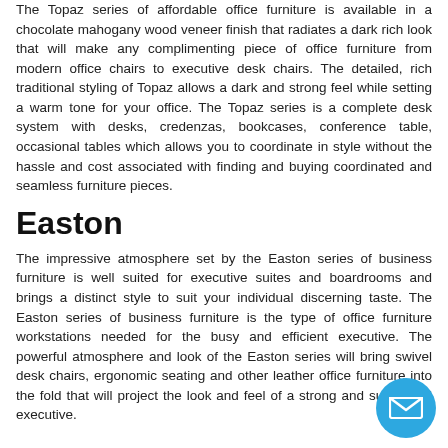The Topaz series of affordable office furniture is available in a chocolate mahogany wood veneer finish that radiates a dark rich look that will make any complimenting piece of office furniture from modern office chairs to executive desk chairs. The detailed, rich traditional styling of Topaz allows a dark and strong feel while setting a warm tone for your office. The Topaz series is a complete desk system with desks, credenzas, bookcases, conference table, occasional tables which allows you to coordinate in style without the hassle and cost associated with finding and buying coordinated and seamless furniture pieces.
Easton
The impressive atmosphere set by the Easton series of business furniture is well suited for executive suites and boardrooms and brings a distinct style to suit your individual discerning taste. The Easton series of business furniture is the type of office furniture workstations needed for the busy and efficient executive. The powerful atmosphere and look of the Easton series will bring swivel desk chairs, ergonomic seating and other leather office furniture into the fold that will project the look and feel of a strong and successful executive.